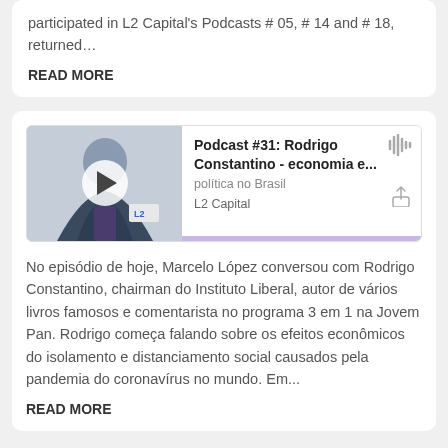participated in L2 Capital's Podcasts # 05, # 14 and # 18, returned…
READ MORE
[Figure (screenshot): Embedded podcast player card showing Podcast #31: Rodrigo Constantino - economia e... política no Brasil, L2 Capital, with a thumbnail image of a man in a suit, play button, audio waveform icon, share icon, and purple progress bar.]
No episódio de hoje, Marcelo López conversou com Rodrigo Constantino, chairman do Instituto Liberal, autor de vários livros famosos e comentarista no programa 3 em 1 na Jovem Pan. Rodrigo começa falando sobre os efeitos econômicos do isolamento e distanciamento social causados pela pandemia do coronavírus no mundo. Em...
READ MORE